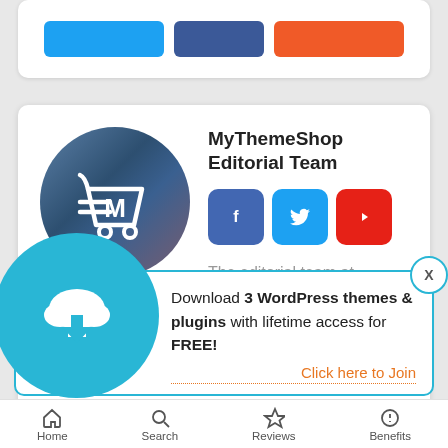[Figure (screenshot): Partial top of a social share card showing three buttons: Twitter (blue), Facebook (dark blue), and an orange button, cut off at top of page.]
[Figure (screenshot): Author card for MyThemeShop Editorial Team with circular avatar logo (shopping cart with M), social icons for Facebook, Twitter, YouTube, and bio text saying 'The editorial team at MyThemeShop consists of a group of highly trained WordPress professionals who strive to deliver nothing'.]
MyThemeShop Editorial Team
The editorial team at MyThemeShop consists of a group of highly trained WordPress professionals who strive to deliver nothing
Download 3 WordPress themes & plugins with lifetime access for FREE!
Click here to Join
Home   Search   Reviews   Benefits